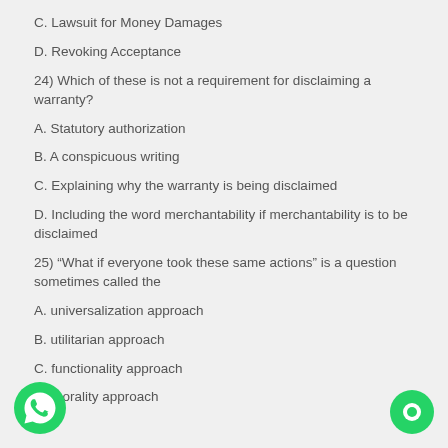C. Lawsuit for Money Damages
D.  Revoking Acceptance
24) Which of these is not a requirement for disclaiming a warranty?
A.  Statutory authorization
B. A conspicuous writing
C.  Explaining why the warranty is being disclaimed
D.  Including the word merchantability if merchantability is to be disclaimed
25) “What if everyone took these same actions” is a question sometimes called the
A.  universalization approach
B.  utilitarian approach
C.  functionality approach
D.  morality approach